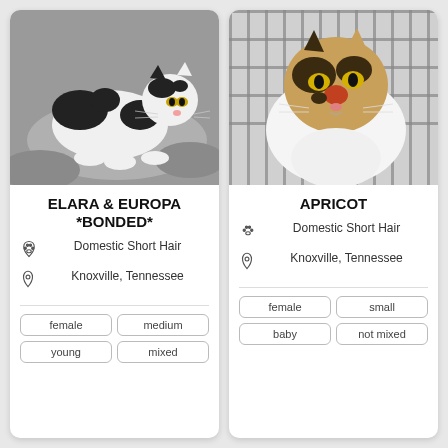[Figure (photo): Black and white kitten lying on a grey blanket, looking at the camera]
ELARA & EUROPA *BONDED*
Domestic Short Hair
Knoxville, Tennessee
female
medium
young
mixed
[Figure (photo): Calico/tortoiseshell cat behind cage bars looking at camera]
APRICOT
Domestic Short Hair
Knoxville, Tennessee
female
small
baby
not mixed